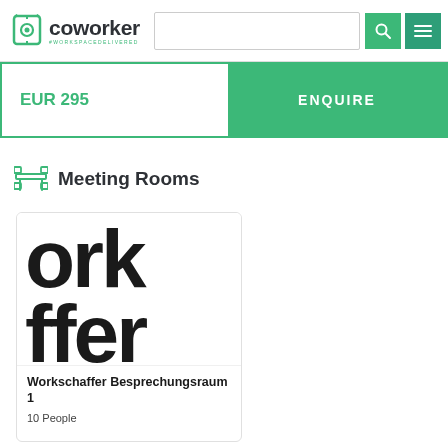coworker #WORKSPACEDELIVERED
EUR 295
ENQUIRE
Meeting Rooms
[Figure (photo): Partial zoomed-in text showing 'ork' and 'ffer' in large bold letters, representing the Workschaffer coworking space branding]
Workschaffer Besprechungsraum 1
10 People